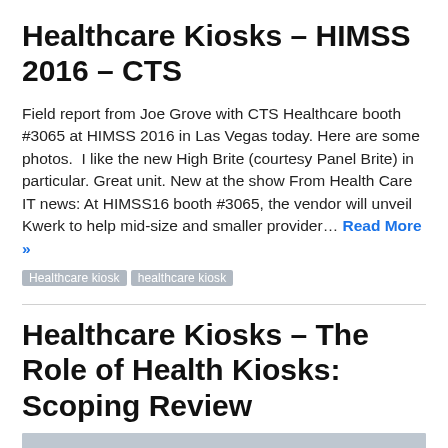Healthcare Kiosks – HIMSS 2016 – CTS
Field report from Joe Grove with CTS Healthcare booth #3065 at HIMSS 2016 in Las Vegas today. Here are some photos.  I like the new High Brite (courtesy Panel Brite) in particular. Great unit. New at the show From Health Care IT news: At HIMSS16 booth #3065, the vendor will unveil Kwerk to help mid-size and smaller provider… Read More »
Healthcare kiosk · healthcare kiosk
Healthcare Kiosks – The Role of Health Kiosks: Scoping Review
[Figure (photo): Preview image of a healthcare kiosk article, showing a kiosk device in a gray-toned photograph.]